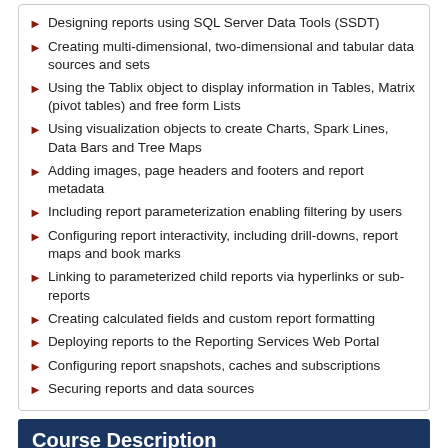Designing reports using SQL Server Data Tools (SSDT)
Creating multi-dimensional, two-dimensional and tabular data sources and sets
Using the Tablix object to display information in Tables, Matrix (pivot tables) and free form Lists
Using visualization objects to create Charts, Spark Lines, Data Bars and Tree Maps
Adding images, page headers and footers and report metadata
Including report parameterization enabling filtering by users
Configuring report interactivity, including drill-downs, report maps and book marks
Linking to parameterized child reports via hyperlinks or sub-reports
Creating calculated fields and custom report formatting
Deploying reports to the Reporting Services Web Portal
Configuring report snapshots, caches and subscriptions
Securing reports and data sources
Course Description
This course introduces Microsoft's SQL Server Reporting Services 2017 (SSRS) utility. All reports are developed utilizing SQL Server